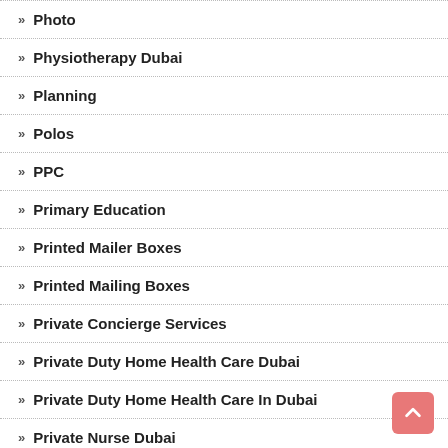Photo
Physiotherapy Dubai
Planning
Polos
PPC
Primary Education
Printed Mailer Boxes
Printed Mailing Boxes
Private Concierge Services
Private Duty Home Health Care Dubai
Private Duty Home Health Care In Dubai
Private Nurse Dubai
Product Display Boxes